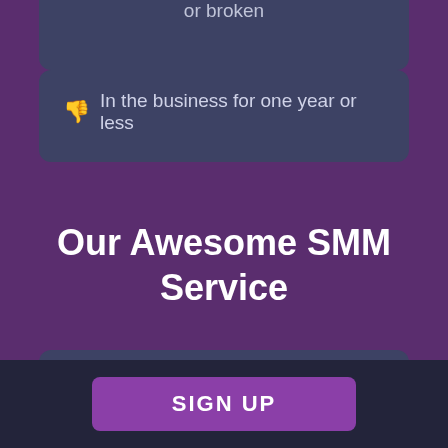or broken
In the business for one year or less
Our Awesome SMM Service
LIKES
Likes for a... have the b...
SIGN UP